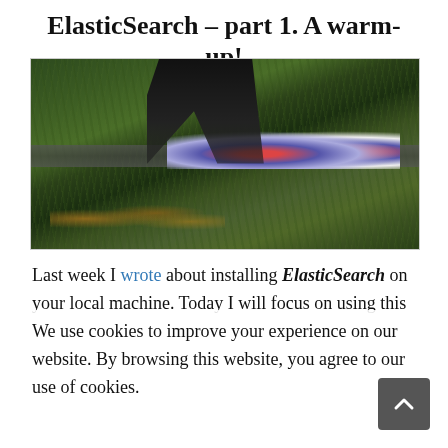ElasticSearch – part 1. A warm-up!
[Figure (photo): Close-up photo of person's legs in black leggings and colorful running shoes walking on a path through green grass with fallen leaves]
Last week I wrote about installing ElasticSearch on your local machine. Today I will focus on using this
We use cookies to improve your experience on our website. By browsing this website, you agree to our use of cookies.